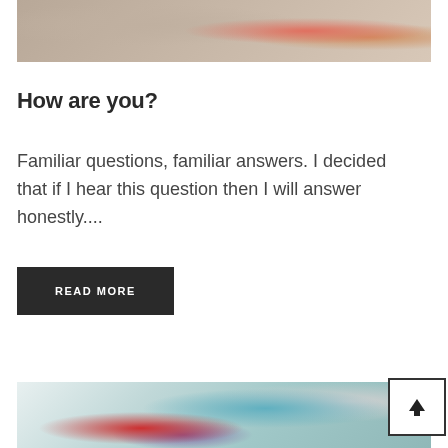[Figure (photo): Partial view of a colorful indoor scene, cropped at top of page]
How are you?
Familiar questions, familiar answers. I decided that if I hear this question then I will answer honestly....
READ MORE
[Figure (photo): Photo of a person lying on a bed with colorful pillows in a room with teal curtains and white furniture]